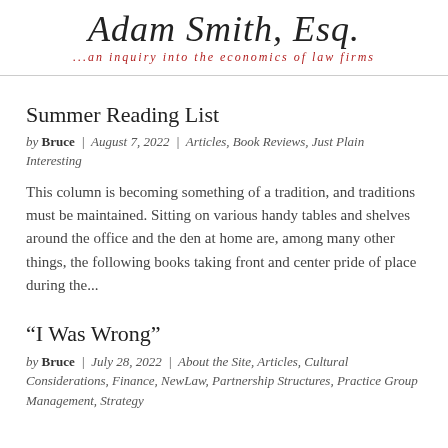Adam Smith, Esq. ...an inquiry into the economics of law firms
Summer Reading List
by Bruce | August 7, 2022 | Articles, Book Reviews, Just Plain Interesting
This column is becoming something of a tradition, and traditions must be maintained. Sitting on various handy tables and shelves around the office and the den at home are, among many other things, the following books taking front and center pride of place during the...
“I Was Wrong”
by Bruce | July 28, 2022 | About the Site, Articles, Cultural Considerations, Finance, NewLaw, Partnership Structures, Practice Group Management, Strategy